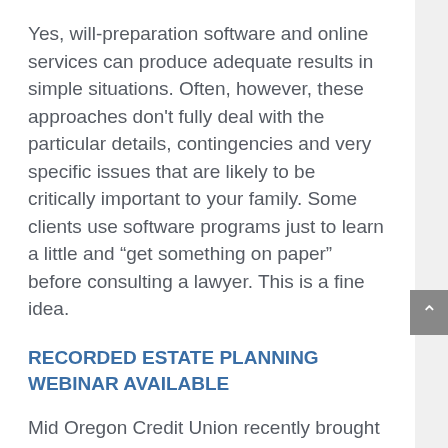Yes, will-preparation software and online services can produce adequate results in simple situations. Often, however, these approaches don't fully deal with the particular details, contingencies and very specific issues that are likely to be critically important to your family. Some clients use software programs just to learn a little and “get something on paper” before consulting a lawyer. This is a fine idea.
RECORDED ESTATE PLANNING WEBINAR AVAILABLE
Mid Oregon Credit Union recently brought Estate Planning Attorney Jeff Patterson and his Estate Planning Essentials seminar to Central Oregon live in a webinar, The recording of Jeff, who is with Schwabe,